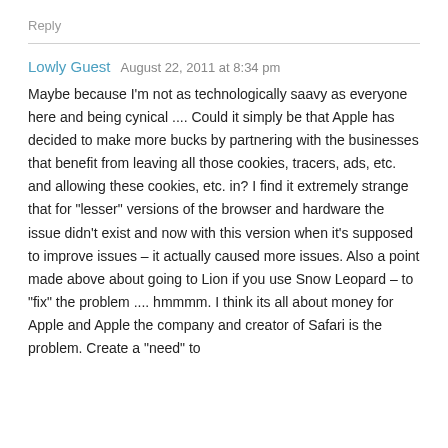Reply
Lowly Guest   August 22, 2011 at 8:34 pm
Maybe because I'm not as technologically saavy as everyone here and being cynical .... Could it simply be that Apple has decided to make more bucks by partnering with the businesses that benefit from leaving all those cookies, tracers, ads, etc. and allowing these cookies, etc. in? I find it extremely strange that for "lesser" versions of the browser and hardware the issue didn't exist and now with this version when it's supposed to improve issues – it actually caused more issues. Also a point made above about going to Lion if you use Snow Leopard – to "fix" the problem .... hmmmm. I think its all about money for Apple and Apple the company and creator of Safari is the problem. Create a "need" to